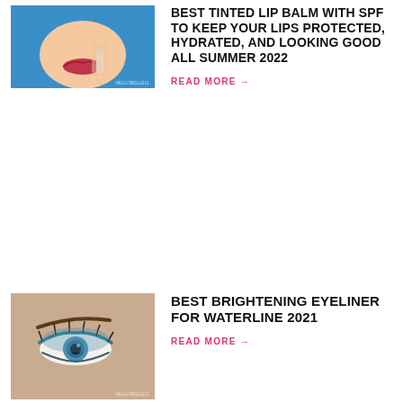[Figure (photo): Woman applying tinted lip balm on blue background]
BEST TINTED LIP BALM WITH SPF TO KEEP YOUR LIPS PROTECTED, HYDRATED, AND LOOKING GOOD ALL SUMMER 2022
READ MORE →
[Figure (photo): Close-up of woman's eye with blue eyeliner]
BEST BRIGHTENING EYELINER FOR WATERLINE 2021
READ MORE →